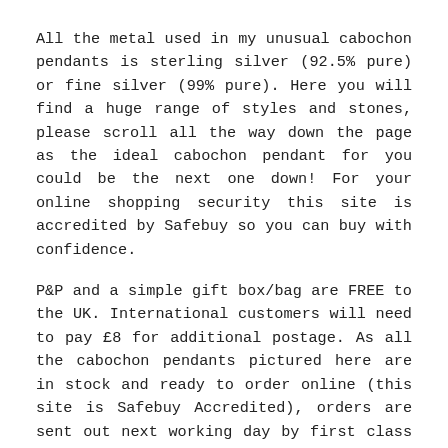All the metal used in my unusual cabochon pendants is sterling silver (92.5% pure) or fine silver (99% pure). Here you will find a huge range of styles and stones, please scroll all the way down the page as the ideal cabochon pendant for you could be the next one down! For your online shopping security this site is accredited by Safebuy so you can buy with confidence.
P&P and a simple gift box/bag are FREE to the UK. International customers will need to pay £8 for additional postage. As all the cabochon pendants pictured here are in stock and ready to order online (this site is Safebuy Accredited), orders are sent out next working day by first class recorded post.
Chain length supplied is a standard 18 inches but I'm happy to fit an 16 inch chain to your cabochon pendant if you would prefer for no extra cost, just let